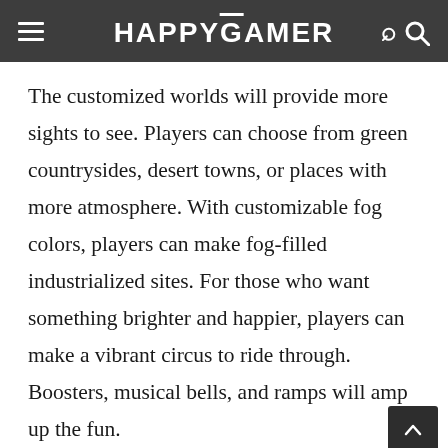HAPPYGAMER
The customized worlds will provide more sights to see. Players can choose from green countrysides, desert towns, or places with more atmosphere. With customizable fog colors, players can make fog-filled industrialized sites. For those who want something brighter and happier, players can make a vibrant circus to ride through. Boosters, musical bells, and ramps will amp up the fun.
Train tracks don’t have to be a solo adventure.